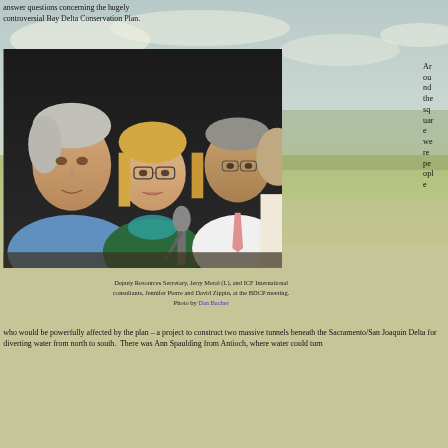answer questions concerning the hugely controversial Bay Delta Conservation Plan.
[Figure (photo): Three people seated at a meeting table with a microphone. An older man with white hair in a blue shirt on the left, a blonde woman with glasses in the center, and a man in a white shirt with pink tie on the right.]
Deputy Resources Secretary, Jerry Meral (L), and ICF International consultants, Jennifer Pierre and David Zippin, at the BDCP meeting. Photo by Dan Bacher
Around the square were people
who would be powerfully affected by the plan – a project to construct two massive tunnels beneath the Sacramento/San Joaquin Delta for diverting water from north to south.  There was Ann Spaulding from Antioch, where water could turn